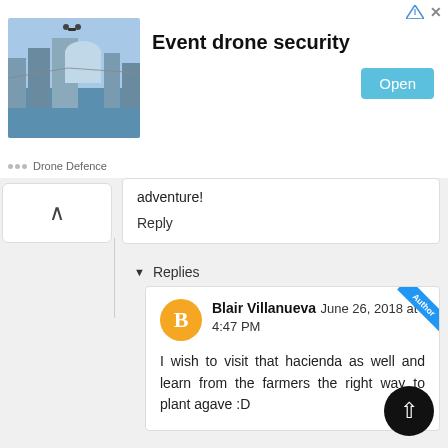[Figure (screenshot): Advertisement banner for 'Event drone security' by Drone Defence, showing a cityscape with drone image, headline text, and an 'Open' button]
adventure!
Reply
▾  Replies
Blair Villanueva  June 26, 2018 at 4:47 PM
I wish to visit that hacienda as well and learn from the farmers the right way to plant agave :D
Nicole Anderson | Camping for Women  June 26, 2018 at 5:15 AM
Guadalajara looks like such a lovely place to visit. Aside from the photos of the town area which look beautiful, sampling the authentic